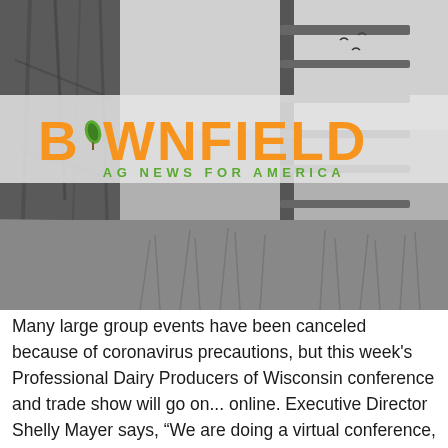[Figure (photo): Black and white farm scene with a tree trunk wrapped in barbed wire fence on the left and a metal gate post with tall grass in the background on the right. The Brownfield Ag News for America logo is overlaid in the center of the image with orange and green text on a semi-transparent light background.]
Many large group events have been canceled because of coronavirus precautions, but this week's Professional Dairy Producers of Wisconsin conference and trade show will go on... online. Executive Director Shelly Mayer says, “We are doing a virtual conference, so our speakers are still flying in.